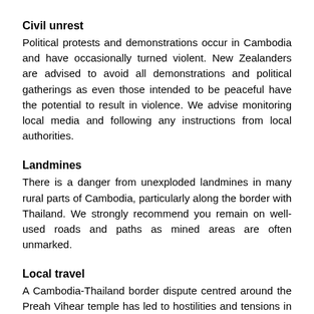Civil unrest
Political protests and demonstrations occur in Cambodia and have occasionally turned violent. New Zealanders are advised to avoid all demonstrations and political gatherings as even those intended to be peaceful have the potential to result in violence. We advise monitoring local media and following any instructions from local authorities.
Landmines
There is a danger from unexploded landmines in many rural parts of Cambodia, particularly along the border with Thailand. We strongly recommend you remain on well-used roads and paths as mined areas are often unmarked.
Local travel
A Cambodia-Thailand border dispute centred around the Preah Vihear temple has led to hostilities and tensions in the past, including armed conflict. The situation has stabilised, however, we recommend exercising particular care around the Thai-Cambodian border and at border